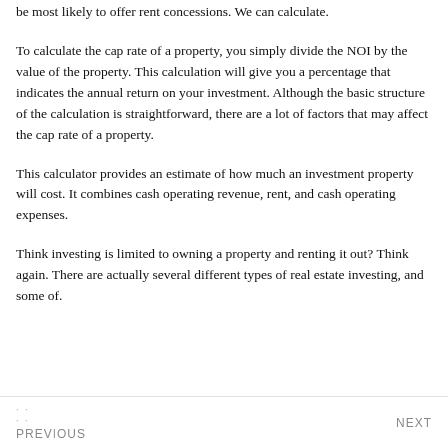be most likely to offer rent concessions. We can calculate.
To calculate the cap rate of a property, you simply divide the NOI by the value of the property. This calculation will give you a percentage that indicates the annual return on your investment. Although the basic structure of the calculation is straightforward, there are a lot of factors that may affect the cap rate of a property.
This calculator provides an estimate of how much an investment property will cost. It combines cash operating revenue, rent, and cash operating expenses.
Think investing is limited to owning a property and renting it out? Think again. There are actually several different types of real estate investing, and some of.
PREVIOUS    NEXT